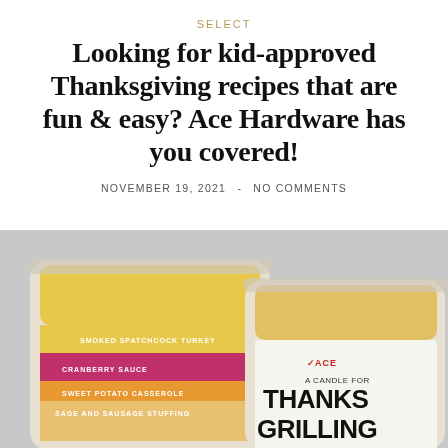SELECT
Looking for kid-approved Thanksgiving recipes that are fun & easy? Ace Hardware has you covered!
NOVEMBER 19, 2021  -  NO COMMENTS
[Figure (photo): Two candle jars — one with a colorful layered label listing Thanksgiving foods (Smoked Spatchcock Turkey, Cranberry Sauce, Sweet Potato Casserole, Sage and Sausage Stuffing), and one white-labeled Ace Hardware candle reading 'A CANDLE FOR THANKS GRILLING']